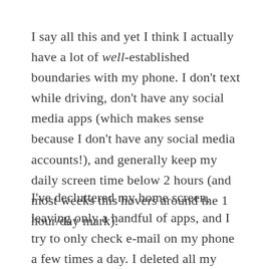I say all this and yet I think I actually have a lot of well-established boundaries with my phone. I don't text while driving, don't have any social media apps (which makes sense because I don't have any social media accounts!), and generally keep my daily screen time below 2 hours (and most weeks this hovers around the 1 hour/day mark).
I've decluttered my home screen, leaving only a handful of apps, and I try to only check e-mail on my phone a few times a day. I deleted all my news apps years ago, so have